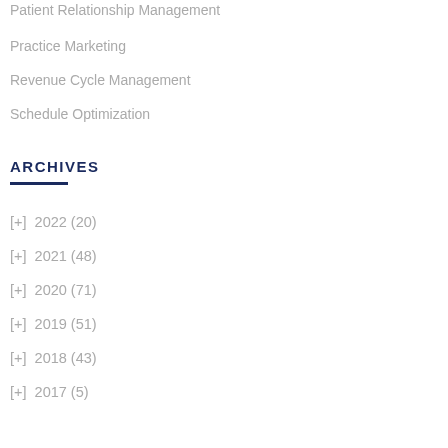Patient Relationship Management
Practice Marketing
Revenue Cycle Management
Schedule Optimization
ARCHIVES
[+]  2022 (20)
[+]  2021 (48)
[+]  2020 (71)
[+]  2019 (51)
[+]  2018 (43)
[+]  2017 (5)